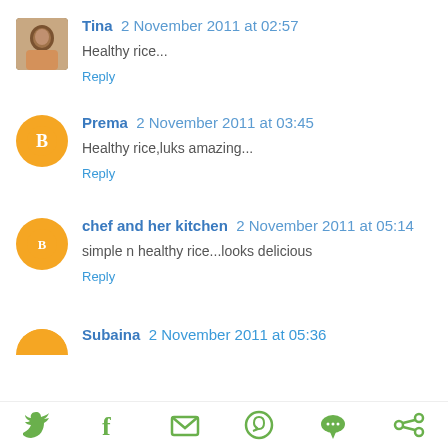Tina 2 November 2011 at 02:57
Healthy rice...
Reply
Prema 2 November 2011 at 03:45
Healthy rice,luks amazing...
Reply
chef and her kitchen 2 November 2011 at 05:14
simple n healthy rice...looks delicious
Reply
Subaina 2 November 2011 at 05:36
Share icons: Twitter, Facebook, Email, WhatsApp, SMS, More